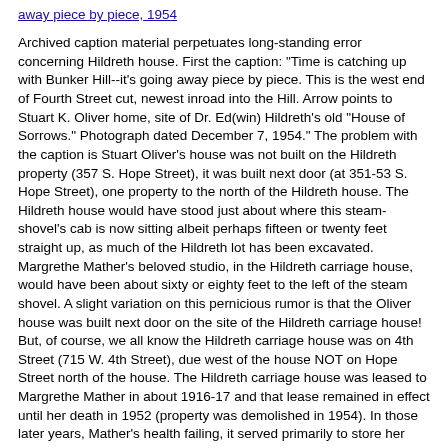away piece by piece, 1954
Archived caption material perpetuates long-standing error concerning Hildreth house. First the caption: "Time is catching up with Bunker Hill--it's going away piece by piece. This is the west end of Fourth Street cut, newest inroad into the Hill. Arrow points to Stuart K. Oliver home, site of Dr. Ed(win) Hildreth's old "House of Sorrows." Photograph dated December 7, 1954." The problem with the caption is Stuart Oliver's house was not built on the Hildreth property (357 S. Hope Street), it was built next door (at 351-53 S. Hope Street), one property to the north of the Hildreth house. The Hildreth house would have stood just about where this steam-shovel's cab is now sitting albeit perhaps fifteen or twenty feet straight up, as much of the Hildreth lot has been excavated. Margrethe Mather's beloved studio, in the Hildreth carriage house, would have been about sixty or eighty feet to the left of the steam shovel. A slight variation on this pernicious rumor is that the Oliver house was built next door on the site of the Hildreth carriage house! But, of course, we all know the Hildreth carriage house was on 4th Street (715 W. 4th Street), due west of the house NOT on Hope Street north of the house. The Hildreth carriage house was leased to Margrethe Mather in about 1916-17 and that lease remained in effect until her death in 1952 (property was demolished in 1954). In those later years, Mather's health failing, it served primarily to store her belongings. She lived over in Glendale with George Lipton.
LAPL